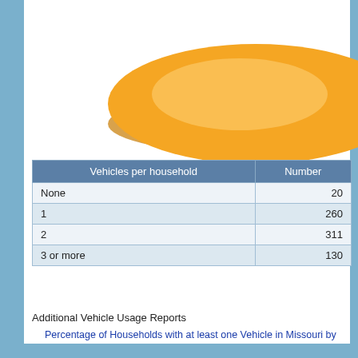[Figure (pie-chart): Partial view of a 3D pie chart showing vehicle distribution data, mostly orange/gold colored, cropped at top of page]
| Vehicles per household | Number |
| --- | --- |
| None | 20 |
| 1 | 260 |
| 2 | 311 |
| 3 or more | 130 |
Additional Vehicle Usage Reports
Percentage of Households with at least one Vehicle in Missouri by City
Percentage of Households with at least two Vehicles in Missouri by City
Download Data